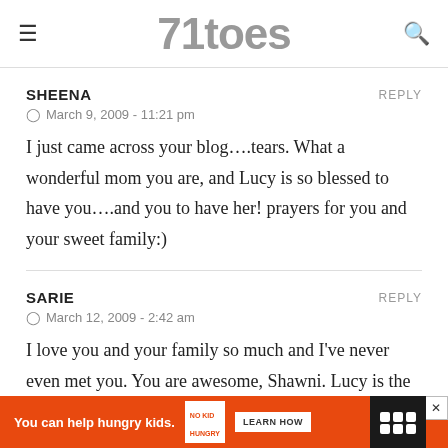71toes
SHEENA
March 9, 2009 - 11:21 pm
I just came across your blog….tears. What a wonderful mom you are, and Lucy is so blessed to have you….and you to have her! prayers for you and your sweet family:)
SARIE
March 12, 2009 - 2:42 am
I love you and your family so much and I've never even met you. You are awesome, Shawni. Lucy is the most beautiful,
[Figure (other): Advertisement banner: orange background with text 'You can help hungry kids.' No Kid Hungry logo and LEARN HOW button]